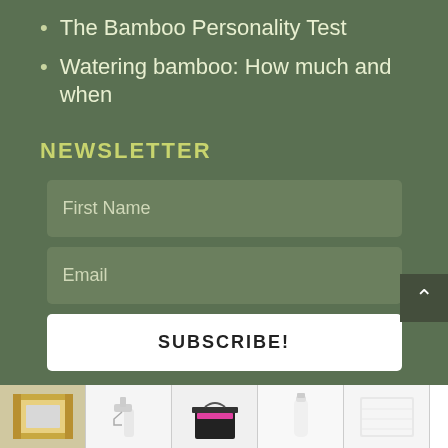The Bamboo Personality Test
Watering bamboo: How much and when
NEWSLETTER
First Name
Email
SUBSCRIBE!
[Figure (screenshot): Advertisement bar showing screen printing supplies products including a frame, spray bottle, pink ink bucket, white bottle, and cloth, with Screening Supplies Store.com branding]